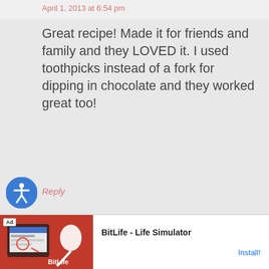April 1, 2013 at 6:54 pm
Great recipe! Made it for friends and family and they LOVED it. I used toothpicks instead of a fork for dipping in chocolate and they worked great too!
Reply
diplomasteve says
[Figure (screenshot): Advertisement banner for BitLife - Life Simulator with red background image and install button]